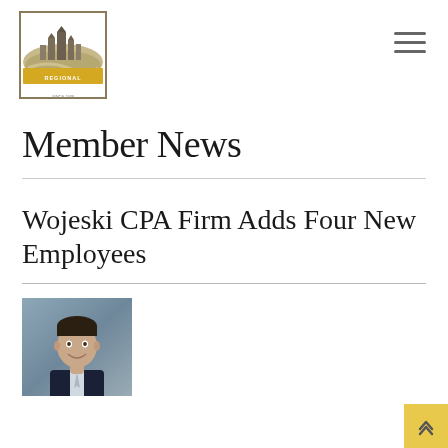[Figure (logo): Rensselaer County Regional Chamber of Commerce logo with cityscape/landscape illustration and yellow banner, 'Since 1908' text below]
Member News
Wojeski CPA Firm Adds Four New Employees
[Figure (photo): Professional headshot of a young man in a dark suit smiling, with a blurred background]